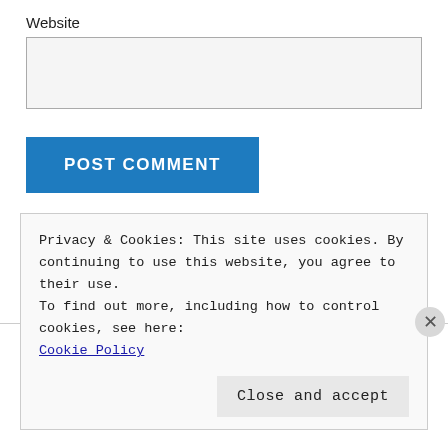Website
POST COMMENT
Notify me of new comments via email.
Notify me of new posts via email.
Privacy & Cookies: This site uses cookies. By continuing to use this website, you agree to their use.
To find out more, including how to control cookies, see here:
Cookie Policy
Close and accept